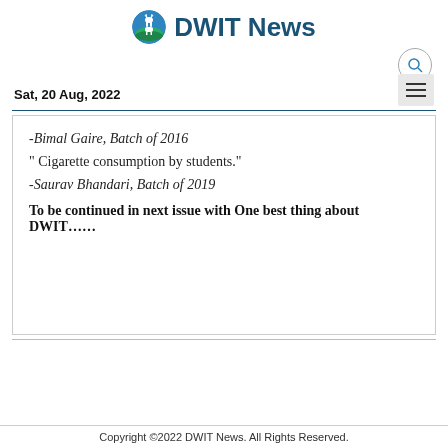DWIT News
Sat, 20 Aug, 2022
-Bimal Gaire, Batch of 2016
“ Cigarette consumption by students.”
-Saurav Bhandari, Batch of 2019
To be continued in next issue with One best thing about DWIT……
Copyright ©2022 DWIT News. All Rights Reserved.